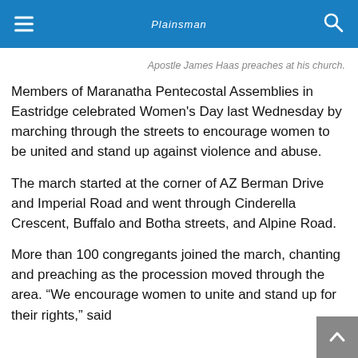Plainsman
Apostle James Haas preaches at his church.
Members of Maranatha Pentecostal Assemblies in Eastridge celebrated Women's Day last Wednesday by marching through the streets to encourage women to be united and stand up against violence and abuse.
The march started at the corner of AZ Berman Drive and Imperial Road and went through Cinderella Crescent, Buffalo and Botha streets, and Alpine Road.
More than 100 congregants joined the march, chanting and preaching as the procession moved through the area. “We encourage women to unite and stand up for their rights,” said